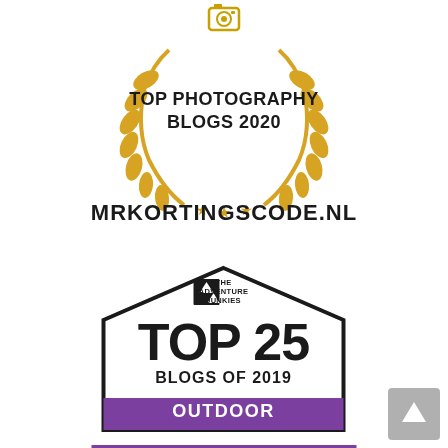[Figure (logo): Top Photography Blogs 2020 award badge with golden laurel wreath, camera icon at top, and text 'MRKORTINGSCODE.NL' below]
[Figure (logo): The Adventure Junkies Top 25 Blogs of 2019 Outdoor Photography badge with pentagon/house shape outline and purple banner at bottom]